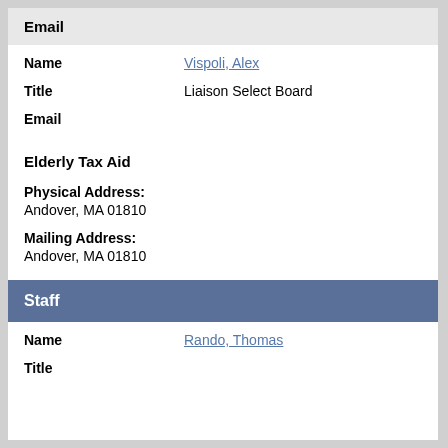Email
Name: Vispoli, Alex
Title: Liaison Select Board
Email:
Elderly Tax Aid
Physical Address:
Andover, MA 01810
Mailing Address:
Andover, MA 01810
Staff
Name: Rando, Thomas
Title: